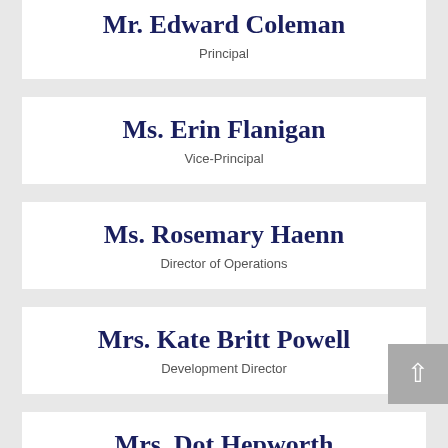Mr. Edward Coleman
Principal
Ms. Erin Flanigan
Vice-Principal
Ms. Rosemary Haenn
Director of Operations
Mrs. Kate Britt Powell
Development Director
Mrs. Dot Hepworth